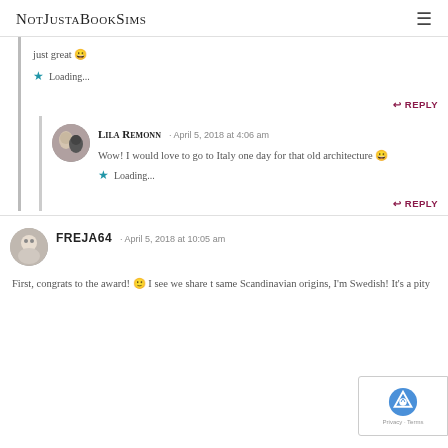NotJustaBookSims
just great 😀
Loading...
REPLY
Lila Remonn · April 5, 2018 at 4:06 am
Wow! I would love to go to Italy one day for that old architecture 😀
Loading...
REPLY
FREJA64 · April 5, 2018 at 10:05 am
First, congrats to the award! 🙂 I see we share the same Scandinavian origins, I'm Swedish! It's a pity